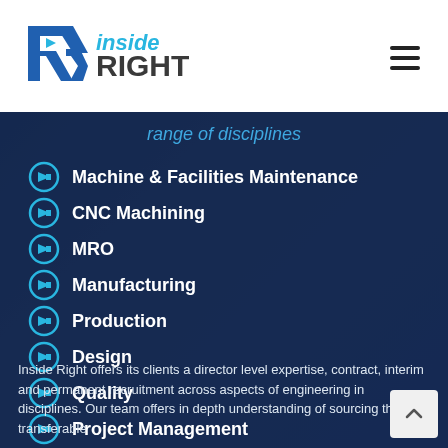[Figure (logo): Inside Right logo with blue stylized R arrow and gray/dark text]
range of disciplines
Machine & Facilities Maintenance
CNC Machining
MRO
Manufacturing
Production
Design
Quality
Project Management
Inside Right offers its clients a director level expertise, contract, interim and permanent recruitment across aspects of engineering in disciplines. Our team offers in depth understanding of sourcing the right transferable